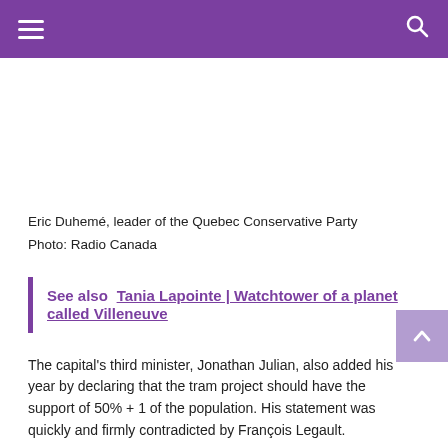Navigation header with hamburger menu and search icon
Eric Duhemé, leader of the Quebec Conservative Party
Photo: Radio Canada
See also   Tania Lapointe | Watchtower of a planet called Villeneuve
The capital's third minister, Jonathan Julian, also added his year by declaring that the tram project should have the support of 50% + 1 of the population. His statement was quickly and firmly contradicted by François Legault.
And here we are to salute the "prickly" government that has